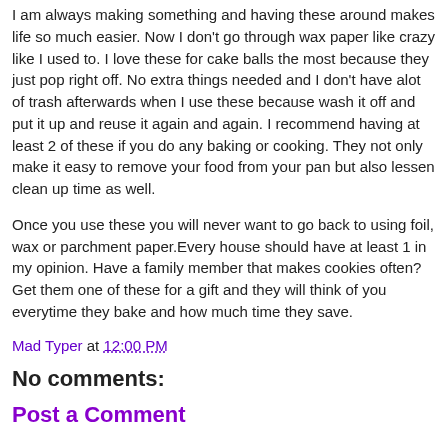I am always making something and having these around makes life so much easier. Now I don't go through wax paper like crazy like I used to. I love these for cake balls the most because they just pop right off. No extra things needed and I don't have alot of trash afterwards when I use these because wash it off and put it up and reuse it again and again. I recommend having at least 2 of these if you do any baking or cooking. They not only make it easy to remove your food from your pan but also lessen clean up time as well.
Once you use these you will never want to go back to using foil, wax or parchment paper.Every house should have at least 1 in my opinion. Have a family member that makes cookies often? Get them one of these for a gift and they will think of you everytime they bake and how much time they save.
Mad Typer at 12:00 PM
No comments:
Post a Comment